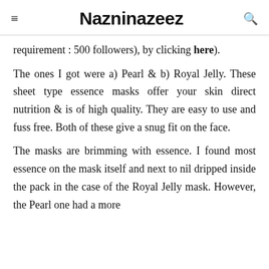Nazninazeez
requirement : 500 followers), by clicking here).
The ones I got were a) Pearl & b) Royal Jelly. These sheet type essence masks offer your skin direct nutrition & is of high quality. They are easy to use and fuss free. Both of these give a snug fit on the face.
The masks are brimming with essence. I found most essence on the mask itself and next to nil dripped inside the pack in the case of the Royal Jelly mask. However, the Pearl one had a more